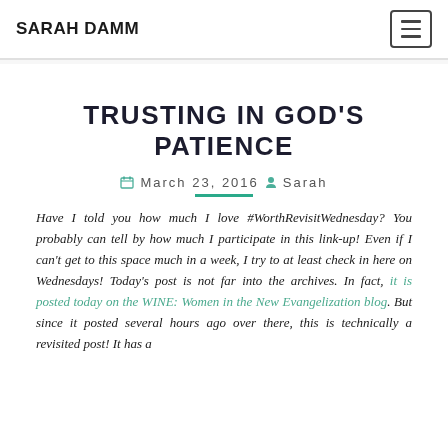SARAH DAMM
TRUSTING IN GOD'S PATIENCE
March 23, 2016  Sarah
Have I told you how much I love #WorthRevisitWednesday? You probably can tell by how much I participate in this link-up! Even if I can't get to this space much in a week, I try to at least check in here on Wednesdays! Today's post is not far into the archives. In fact, it is posted today on the WINE: Women in the New Evangelization blog. But since it posted several hours ago over there, this is technically a revisited post! It has a